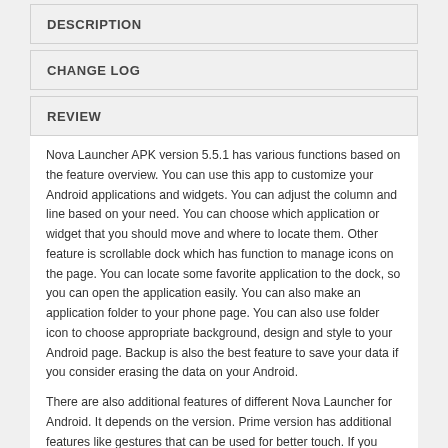DESCRIPTION
CHANGE LOG
REVIEW
Nova Launcher APK version 5.5.1 has various functions based on the feature overview. You can use this app to customize your Android applications and widgets. You can adjust the column and line based on your need. You can choose which application or widget that you should move and where to locate them. Other feature is scrollable dock which has function to manage icons on the page. You can locate some favorite application to the dock, so you can open the application easily. You can also make an application folder to your phone page. You can also use folder icon to choose appropriate background, design and style to your Android page. Backup is also the best feature to save your data if you consider erasing the data on your Android.
There are also additional features of different Nova Launcher for Android. It depends on the version. Prime version has additional features like gestures that can be used for better touch. If you think that you Android touch screen is not good, you can use this prime version for better gestures. Prime version can hide...